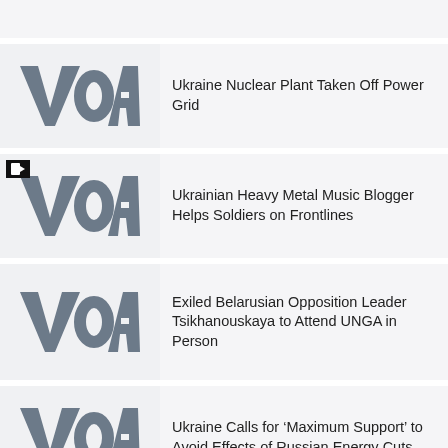[Figure (other): Blank top item placeholder row]
[Figure (logo): VOA logo thumbnail]
Ukraine Nuclear Plant Taken Off Power Grid
[Figure (logo): VOA logo thumbnail with video icon overlay]
Ukrainian Heavy Metal Music Blogger Helps Soldiers on Frontlines
[Figure (logo): VOA logo thumbnail]
Exiled Belarusian Opposition Leader Tsikhanouskaya to Attend UNGA in Person
[Figure (logo): VOA logo thumbnail]
Ukraine Calls for ‘Maximum Support’ to Avoid Effects of Russian Energy Cuts